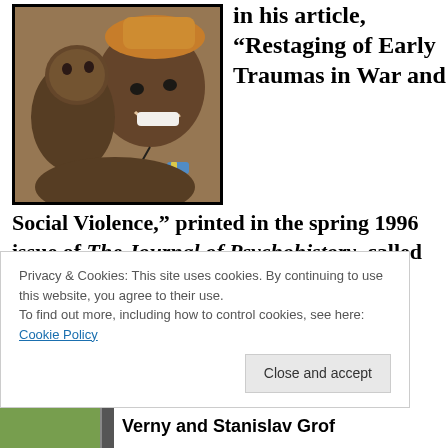[Figure (photo): A smiling African woman carrying a baby on her back, photographed close-up. The woman wears an orange/gold head covering and a necklace with a small bottle. The baby rests against her back looking at the camera.]
in his article, “Restaging of Early Traumas in War and Social Violence,” printed in the spring 1996 issue of The Journal of Psychohistory, called for kinder and gentler birthing and child-caring practices to mitigate the ferocity of these forces within humans and help us
Privacy & Cookies: This site uses cookies. By continuing to use this website, you agree to their use.
To find out more, including how to control cookies, see here: Cookie Policy
Close and accept
Verny and Stanislav Grof